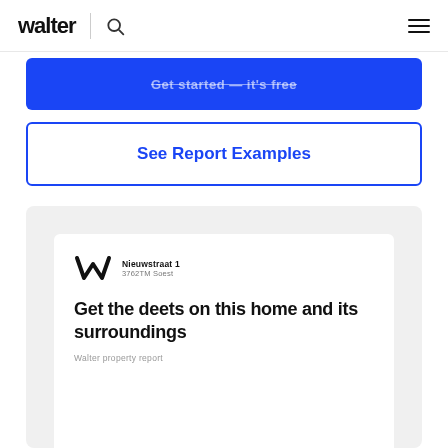walter | (search icon) (menu icon)
Get started — it's free
See Report Examples
[Figure (screenshot): Walter property report preview card showing logo, address 'Nieuwstraat 1, 3762TM Soest', and heading 'Get the deets on this home and its surroundings' with subtitle 'Walter property report']